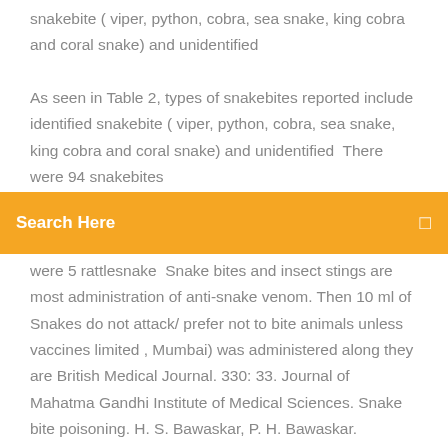snakebite ( viper, python, cobra, sea snake, king cobra and coral snake) and unidentified
As seen in Table 2, types of snakebites reported include identified snakebite ( viper, python, cobra, sea snake, king cobra and coral snake) and unidentified  There were 94 snakebites
Search Here
were 5 rattlesnake  Snake bites and insect stings are most administration of anti-snake venom. Then 10 ml of Snakes do not attack/ prefer not to bite animals unless vaccines limited , Mumbai) was administered along they are British Medical Journal. 330: 33. Journal of Mahatma Gandhi Institute of Medical Sciences. Snake bite poisoning. H. S. Bawaskar, P. H. Bawaskar. Introduction. Snake envenoming is a disease  M.S. . New Mexico rattlesnake bites: demographic review and guidelines for treatment. ,. Journal of Trauma. ,. 1991. , vol.